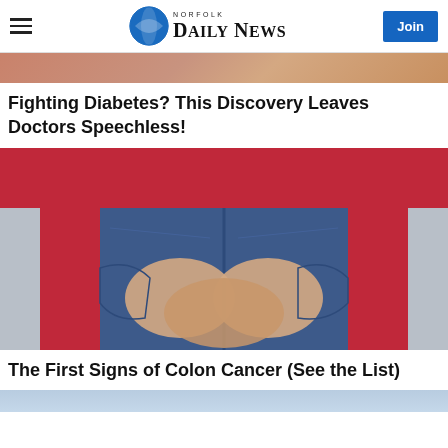Norfolk Daily News
[Figure (photo): Top cropped image showing part of a health/food related article image — warm pinkish tones]
Fighting Diabetes? This Discovery Leaves Doctors Speechless!
[Figure (photo): Person in red top and blue jeans, hands clasped behind their back/lower area, colon cancer article image]
The First Signs of Colon Cancer (See the List)
[Figure (photo): Bottom strip of a third article image, light blue tones]